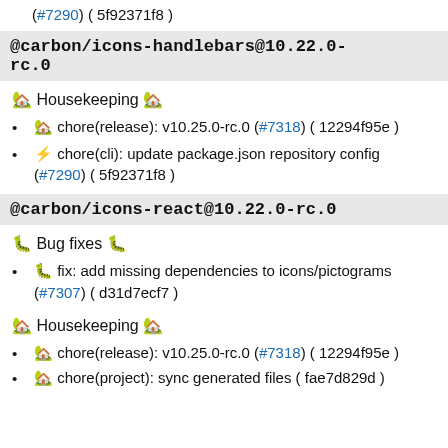⚡ chore(cli): update package.json repository config (#7290) ( 5f92371f8 )
@carbon/icons-handlebars@10.22.0-rc.0
🏡 Housekeeping 🏡
🏡 chore(release): v10.25.0-rc.0 (#7318) ( 12294f95e )
⚡ chore(cli): update package.json repository config (#7290) ( 5f92371f8 )
@carbon/icons-react@10.22.0-rc.0
🐛 Bug fixes 🐛
🐛 fix: add missing dependencies to icons/pictograms (#7307) ( d31d7ecf7 )
🏡 Housekeeping 🏡
🏡 chore(release): v10.25.0-rc.0 (#7318) ( 12294f95e )
🏡 chore(project): sync generated files ( fae7d829d )